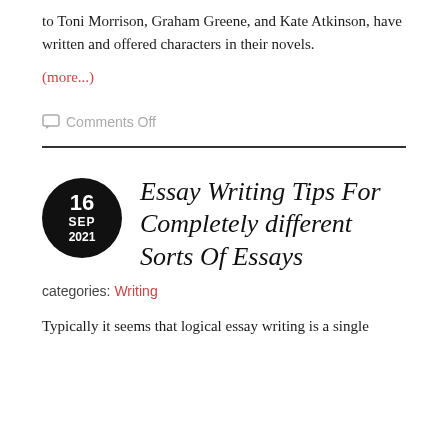to Toni Morrison, Graham Greene, and Kate Atkinson, have written and offered characters in their novels.
(more...)
○ Comments Off
Essay Writing Tips For Completely different Sorts Of Essays
categories: Writing
Typically it seems that logical essay writing is a single